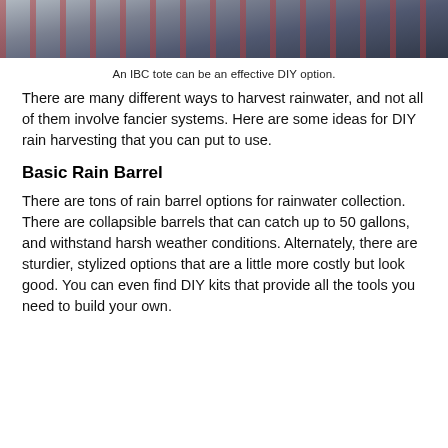[Figure (photo): Top portion of a photo showing an IBC tote rainwater collection setup with pipes and equipment visible]
An IBC tote can be an effective DIY option.
There are many different ways to harvest rainwater, and not all of them involve fancier systems. Here are some ideas for DIY rain harvesting that you can put to use.
Basic Rain Barrel
There are tons of rain barrel options for rainwater collection. There are collapsible barrels that can catch up to 50 gallons, and withstand harsh weather conditions. Alternately, there are sturdier, stylized options that are a little more costly but look good. You can even find DIY kits that provide all the tools you need to build your own.